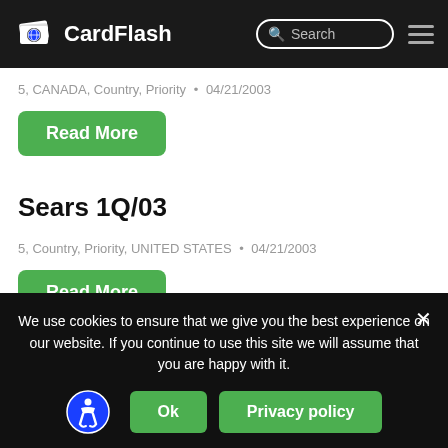CardFlash
5, CANADA, Country, Priority • 04/21/2003
Read More
Sears 1Q/03
5, Country, Priority, UNITED STATES • 04/21/2003
Read More
AEROPLAN CONTRACT
We use cookies to ensure that we give you the best experience on our website. If you continue to use this site we will assume that you are happy with it.
Ok
Privacy policy